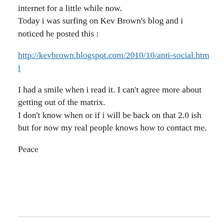As some of you might know, i have been on the internet for a little while now. Today i was surfing on Kev Brown's blog and i noticed he posted this :
http://kevbrown.blogspot.com/2010/10/anti-social.html
I had a smile when i read it. I can't agree more about getting out of the matrix. I don't know when or if i will be back on that 2.0 ish but for now my real people knows how to contact me.
Peace